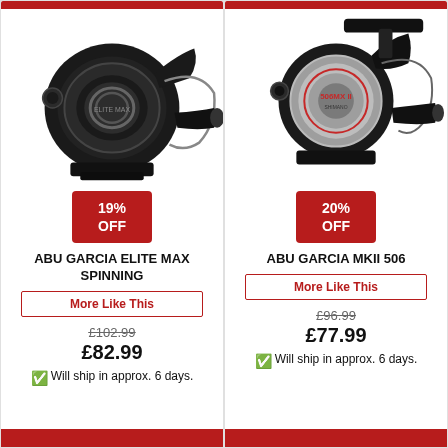[Figure (photo): Abu Garcia Elite Max Spinning fishing reel, black color, shown at angle]
19% OFF
ABU GARCIA ELITE MAX SPINNING
More Like This
£102.99
£82.99
Will ship in approx. 6 days.
[Figure (photo): Abu Garcia MKII 506 fishing reel, silver and black color, compact design]
20% OFF
ABU GARCIA MKII 506
More Like This
£96.99
£77.99
Will ship in approx. 6 days.